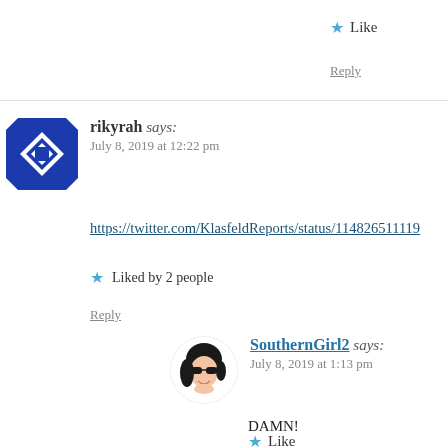★ Like
Reply
rikyrah says: July 8, 2019 at 12:22 pm
https://twitter.com/KlasfeldReports/status/114826511190
★ Liked by 2 people
Reply
SouthernGirl2 says: July 8, 2019 at 1:13 pm
DAMN!
★ Like